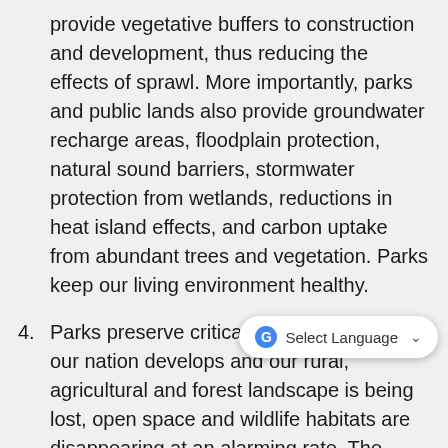provide vegetative buffers to construction and development, thus reducing the effects of sprawl. More importantly, parks and public lands also provide groundwater recharge areas, floodplain protection, natural sound barriers, stormwater protection from wetlands, reductions in heat island effects, and carbon uptake from abundant trees and vegetation. Parks keep our living environment healthy.
4. Parks preserve critical wildlife habitat. As our nation develops and our rural, agricultural and forest landscape is being lost, open space and wildlife habitats are disappearing at an alarming rate. The connected network of local, regional, state and national parks across provide permanently protected wildlife habitat corridors for thousands of